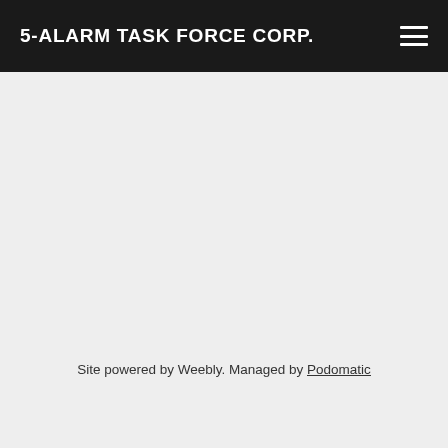5-ALARM TASK FORCE CORP.
Site powered by Weebly. Managed by Podomatic